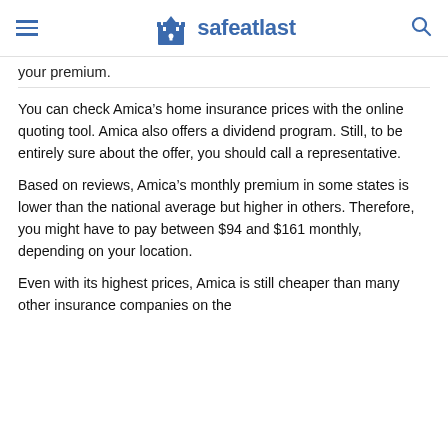safeatlast
your premium.
You can check Amica’s home insurance prices with the online quoting tool. Amica also offers a dividend program. Still, to be entirely sure about the offer, you should call a representative.
Based on reviews, Amica’s monthly premium in some states is lower than the national average but higher in others. Therefore, you might have to pay between $94 and $161 monthly, depending on your location.
Even with its highest prices, Amica is still cheaper than many other insurance companies on the